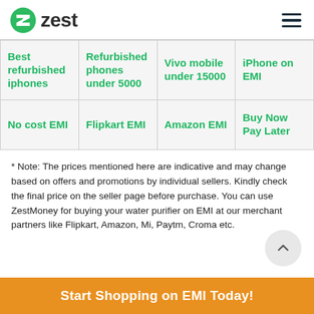zest
| Best refurbished iphones | Refurbished phones under 5000 | Vivo mobile under 15000 | iPhone on EMI |
| No cost EMI | Flipkart EMI | Amazon EMI | Buy Now Pay Later |
* Note: The prices mentioned here are indicative and may change based on offers and promotions by individual sellers. Kindly check the final price on the seller page before purchase. You can use ZestMoney for buying your water purifier on EMI at our merchant partners like Flipkart, Amazon, Mi, Paytm, Croma etc.
Start Shopping on EMI Today!